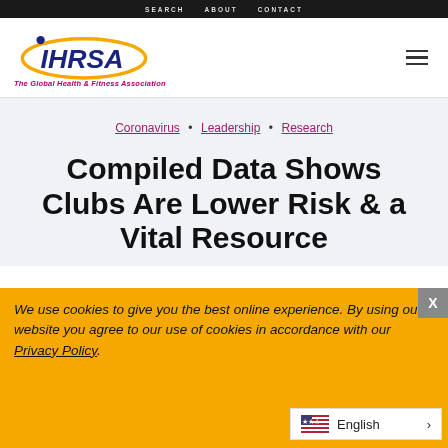SEARCH · ABOUT · CONTACT
[Figure (logo): IHRSA logo with golden arc and text 'IHRSA' in navy blue, tagline 'The Global Health & Fitness Association' in magenta italic below]
Coronavirus · Leadership · Research
Compiled Data Shows Clubs Are Lower Risk & a Vital Resource
We use cookies to give you the best online experience. By using our website you agree to our use of cookies in accordance with our Privacy Policy.
English